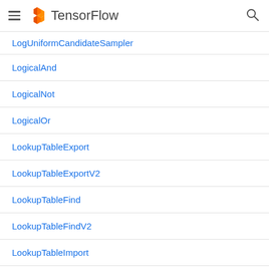TensorFlow
LogUniformCandidateSampler
LogicalAnd
LogicalNot
LogicalOr
LookupTableExport
LookupTableExportV2
LookupTableFind
LookupTableFindV2
LookupTableImport
LookupTableImportV2
LookupTableInsert
LookupTableInsertV2